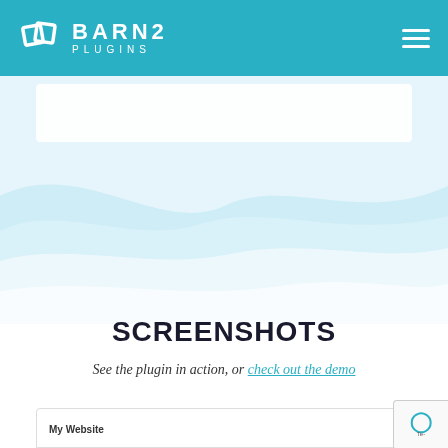BARN2 PLUGINS
[Figure (illustration): Light blue wave decorative background with a white card area below the navigation header]
SCREENSHOTS
See the plugin in action, or check out the demo
[Figure (screenshot): Partial screenshot of a website page showing 'My Website' label at the bottom of the page]